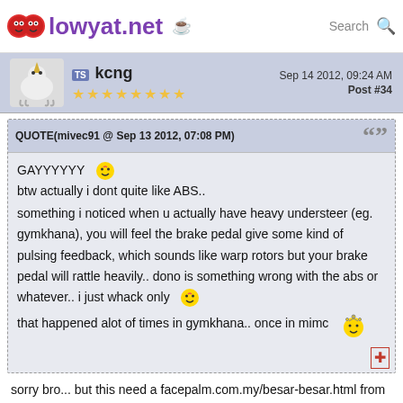lowyat.net
TS kcng  Sep 14 2012, 09:24 AM  Post #34  ★★★★★★★★
QUOTE(mivec91 @ Sep 13 2012, 07:08 PM)
GAYYYYY
btw actually i dont quite like ABS..
something i noticed when u actually have heavy understeer (eg. gymkhana), you will feel the brake pedal give some kind of pulsing feedback, which sounds like warp rotors but your brake pedal will rattle heavily.. dono is something wrong with the abs or whatever.. i just whack only
that happened alot of times in gymkhana.. once in mimc
sorry bro... but this need a facepalm.com.my/besar-besar.html from me....
ABS allows u to brake later into corner while still maintaining traction...
IF u know how to make full use of it, u can charge into corner and brake much later without worrying you locking up your wheels and losing grip or...